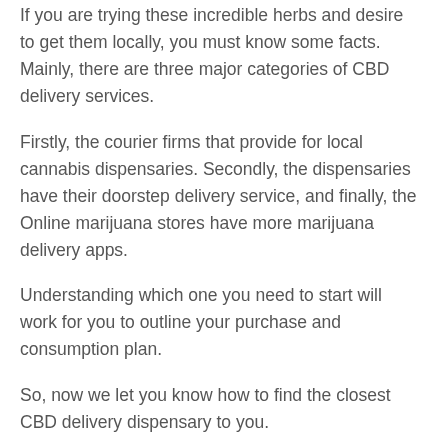If you are trying these incredible herbs and desire to get them locally, you must know some facts. Mainly, there are three major categories of CBD delivery services.
Firstly, the courier firms that provide for local cannabis dispensaries. Secondly, the dispensaries have their doorstep delivery service, and finally, the Online marijuana stores have more marijuana delivery apps.
Understanding which one you need to start will work for you to outline your purchase and consumption plan.
So, now we let you know how to find the closest CBD delivery dispensary to you.
1- Use Weed Finder Websites